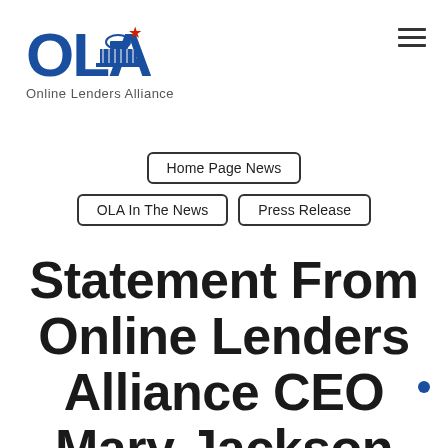[Figure (logo): OLA Online Lenders Alliance logo with blue capitol building graphic and red star]
Home Page News
OLA In The News
Press Release
Statement From Online Lenders Alliance CEO Mary Jackson On